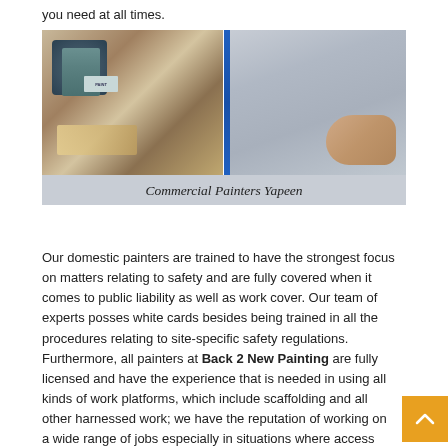you need at all times.
[Figure (photo): Two painting-related photos side by side: left shows paint cans and tools on a surface; right shows a hand holding something against a wall with blue painter's tape.]
Commercial Painters Yapeen
Our domestic painters are trained to have the strongest focus on matters relating to safety and are fully covered when it comes to public liability as well as work cover. Our team of experts posses white cards besides being trained in all the procedures relating to site-specific safety regulations. Furthermore, all painters at Back 2 New Painting are fully licensed and have the experience that is needed in using all kinds of work platforms, which include scaffolding and all other harnessed work; we have the reputation of working on a wide range of jobs especially in situations where access proves to be a bit tricky.